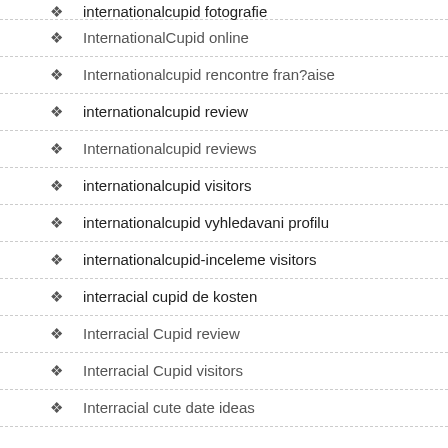internationalcupid fotografie
InternationalCupid online
Internationalcupid rencontre fran?aise
internationalcupid review
Internationalcupid reviews
internationalcupid visitors
internationalcupid vyhledavani profilu
internationalcupid-inceleme visitors
interracial cupid de kosten
Interracial Cupid review
Interracial Cupid visitors
Interracial cute date ideas